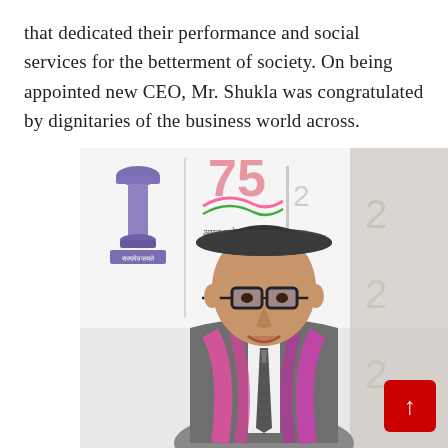that dedicated their performance and social services for the betterment of society. On being appointed new CEO, Mr. Shukla was congratulated by dignitaries of the business world across.
[Figure (photo): Photo of Mr. Shukla wearing a grey suit, pink/magenta scarf, dark hat, and glasses, standing in front of a banner showing the Indian government emblem (Ashoka Pillar) and a '75' anniversary logo. A red scroll-to-top button is visible in the bottom right corner.]